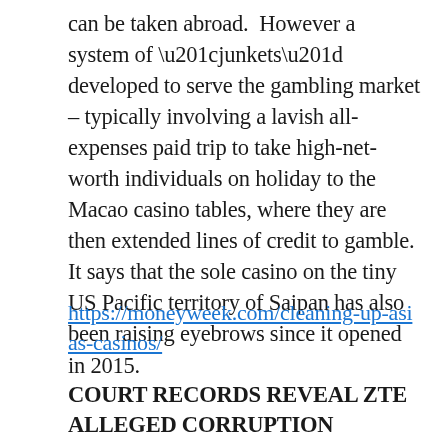can be taken abroad.  However a system of “junkets” developed to serve the gambling market – typically involving a lavish all-expenses paid trip to take high-net-worth individuals on holiday to the Macao casino tables, where they are then extended lines of credit to gamble. It says that the sole casino on the tiny US Pacific territory of Saipan has also been raising eyebrows since it opened in 2015.
https://moneyweek.com/cleaning-up-asias-casinos/
COURT RECORDS REVEAL ZTE ALLEGED CORRUPTION SCHEME IN LIBERIA